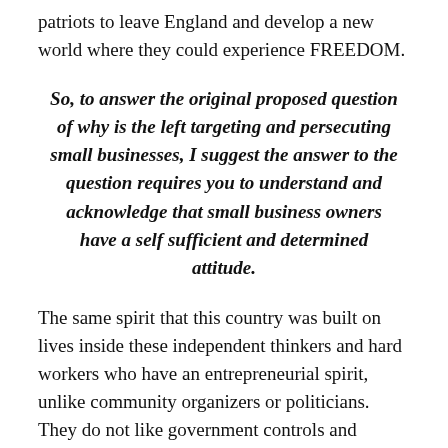patriots to leave England and develop a new world where they could experience FREEDOM.
So, to answer the original proposed question of why is the left targeting and persecuting small businesses, I suggest the answer to the question requires you to understand and acknowledge that small business owners have a self sufficient and determined attitude.
The same spirit that this country was built on lives inside these independent thinkers and hard workers who have an entrepreneurial spirit, unlike community organizers or politicians. They do not like government controls and unreasonable regulations. They do not need government but rather tolerate it.